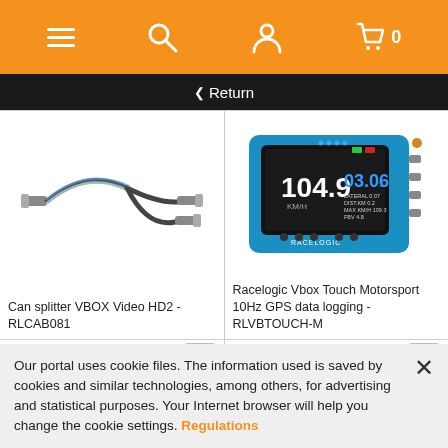[Figure (screenshot): Orange navigation bar with hamburger menu, search, user, and cart icons]
< Return
[Figure (photo): Can splitter cable VBOX Video HD2 - RLCAB081, a Y-shaped cable with connectors]
Can splitter VBOX Video HD2 - RLCAB081
171.62 EUR
[Figure (photo): Racelogic Vbox Touch Motorsport device showing 104.9 km/h speed and 03.06s time]
Racelogic Vbox Touch Motorsport 10Hz GPS data logging - RLVBTOUCH-M
2,488.50 EUR
Our portal uses cookie files. The information used is saved by cookies and similar technologies, among others, for advertising and statistical purposes. Your Internet browser will help you change the cookie settings. Regulations